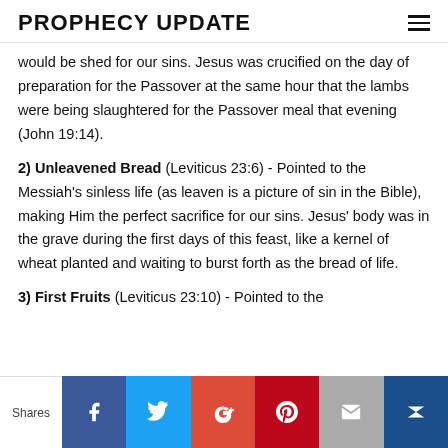PROPHECY UPDATE
would be shed for our sins. Jesus was crucified on the day of preparation for the Passover at the same hour that the lambs were being slaughtered for the Passover meal that evening (John 19:14).
2) Unleavened Bread (Leviticus 23:6) - Pointed to the Messiah’s sinless life (as leaven is a picture of sin in the Bible), making Him the perfect sacrifice for our sins. Jesus’ body was in the grave during the first days of this feast, like a kernel of wheat planted and waiting to burst forth as the bread of life.
3) First Fruits (Leviticus 23:10) - Pointed to the
Shares